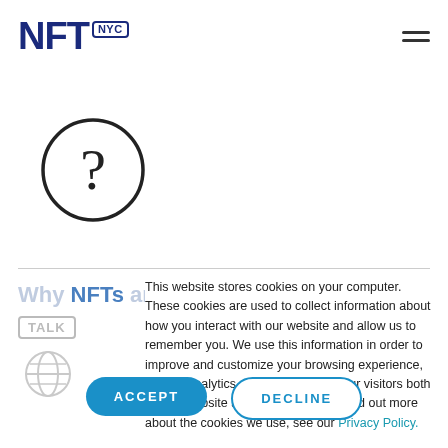NFT NYC
[Figure (illustration): Circle with question mark icon]
This website stores cookies on your computer. These cookies are used to collect information about how you interact with our website and allow us to remember you. We use this information in order to improve and customize your browsing experience, and for analytics and metrics about our visitors both on this website and other media. To find out more about the cookies we use, see our Privacy Policy.
ACCEPT
DECLINE